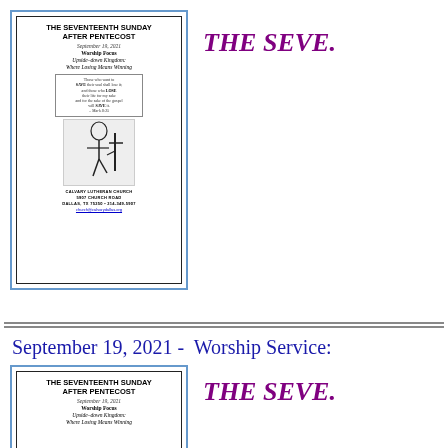[Figure (illustration): Thumbnail of church bulletin for The Seventeenth Sunday After Pentecost, September 19, 2021, with kneeling figure illustration and church contact info]
THE SEVE.
September 19, 2021 -  Worship Service:
[Figure (illustration): Second thumbnail of same church bulletin, showing top portion with title and subtitle]